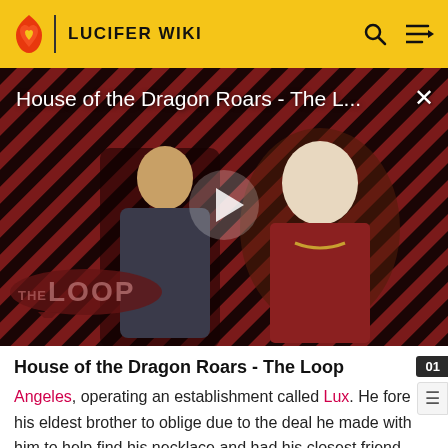LUCIFER WIKI
[Figure (screenshot): Video thumbnail for 'House of the Dragon Roars - The L...' showing two characters in fantasy/medieval costume against a diagonal stripe background, with a play button overlay and 'THE LOOP' logo in the bottom left.]
House of the Dragon Roars - The Loop
Angeles, operating an establishment called Lux. He fore his eldest brother to oblige due to the deal he made with him to help find his necklace and had his closest friend and senior lieutenant, Mazikeen join him, owing John